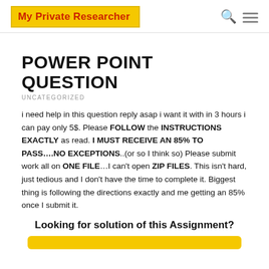My Private Researcher
POWER POINT QUESTION
UNCATEGORIZED
i need help in this question reply asap i want it with in 3 hours i can pay only 5$. Please FOLLOW the INSTRUCTIONS EXACTLY as read. I MUST RECEIVE AN 85% TO PASS….NO EXCEPTIONS..(or so I think so) Please submit work all on ONE FILE…I can't open ZIP FILES. This isn't hard, just tedious and I don't have the time to complete it. Biggest thing is following the directions exactly and me getting an 85% once I submit it.
Looking for solution of this Assignment?